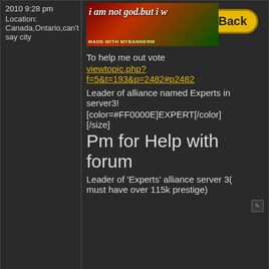2010 9:28 pm
Location: Canada,Ontario,can't say city
[Figure (screenshot): Forum post banner image saying 'i am not god but i w...' with MADE WITH MYBANNERM text and a yellow Back button]
To help me out vote
viewtopic.php?f=5&t=193&p=2482#p2482
Leader of alliance named Experts in server3!
[color=#FF0000E]EXPERT[/color][/size]
Pm for Help with forum
Leader of 'Experts' alliance server 3(must have over 115k prestige)
St4rgrl
Marquis
Posts: 421
Joined: Wed Mar 17, 2010 4:00 am
Mon Apr 12, 2010 8:15 pm
Re: Help me out!
"its easier to be a saint than